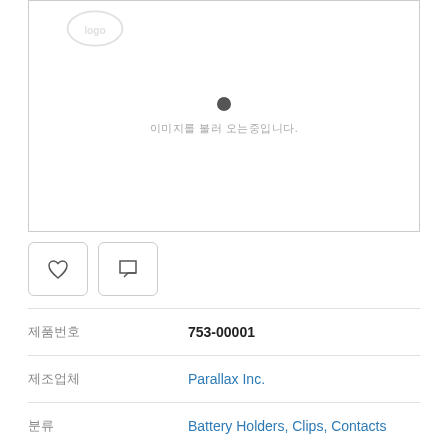[Figure (photo): Product image placeholder with loading spinner and Korean loading text. Small logo watermark in top-left corner.]
[Figure (other): Action buttons row: heart/like icon button and speech bubble/comment icon button]
| 제품번호 | 753-00001 |
| 제조업체 | Parallax Inc. |
| 분류 | Battery Holders, Clips, Contacts |
| RoHS | ✓ (leaf icon) |
| 데이터 시트 | 753-00001 |